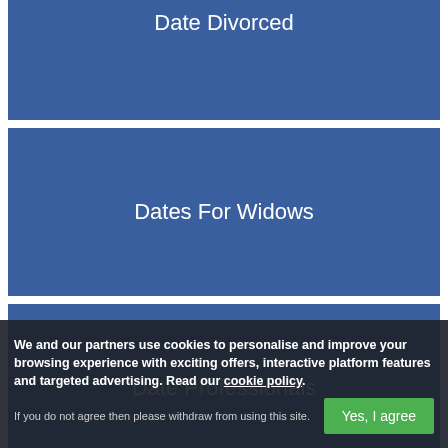Date Divorced
Dates For Widows
Date Professionals
Date N Couples
We and our partners use cookies to personalise and improve your browsing experience with exciting offers, interactive platform features and targeted advertising. Read our cookie policy.
If you do not agree then please withdraw from using this site.